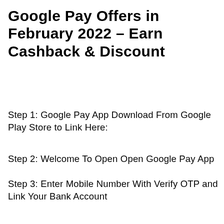Google Pay Offers in February 2022 – Earn Cashback & Discount
Step 1: Google Pay App Download From Google Play Store to Link Here:
Step 2: Welcome To Open Open Google Pay App
Step 3: Enter Mobile Number With Verify OTP and Link Your Bank Account